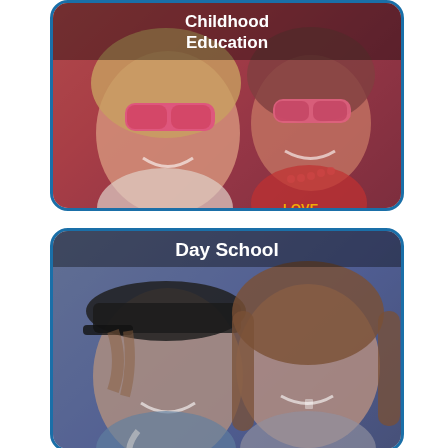[Figure (photo): Two young children wearing pink sunglasses, smiling in a colorful classroom, with a red tint overlay. Label reading 'Childhood Education' at the top.]
[Figure (photo): Two children smiling outdoors, with a blue-purple tint overlay. Label reading 'Day School' at the top.]